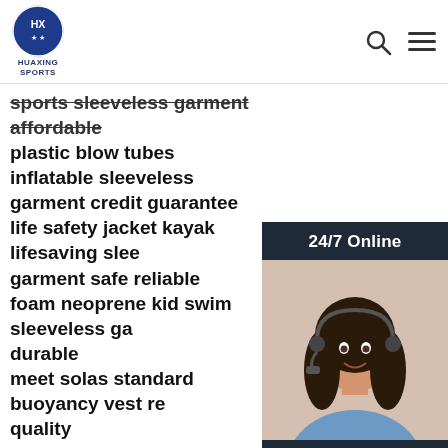[Figure (logo): Huaxing Sports logo - circular emblem with H and X letters, blue and white, with text HUAXING SPORTS below]
sports sleeveless garment affordable plastic blow tubes inflatable sleeveless garment credit guarantee life safety jacket kayak lifesaving sleeveless garment safe reliable foam neoprene kid swim sleeveless garment durable meet solas standard buoyancy vest reliable quality
[Figure (photo): Customer service representative woman with headset smiling, wearing blue shirt, with 24/7 Online header and chat widget]
Click here for free chat !
QUOTATION
[Figure (logo): Huaxing Sports logo large white box with blue circular emblem and HUAXING SPORTS text]
[Figure (other): TOP button with orange dots arc above and orange TOP text]
Specialized in neoprene products for over 20 years Company Profile Locates in Dongguan city, which has many material